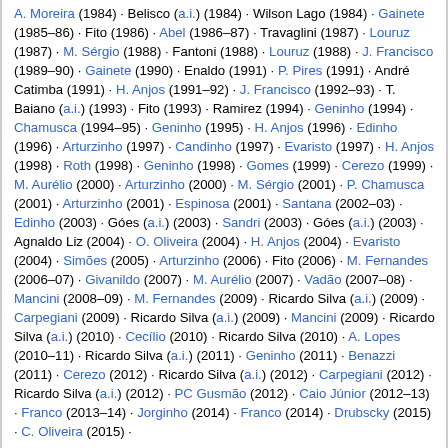A. Moreira (1984) · Belisco (a.i.) (1984) · Wilson Lago (1984) · Gainete (1985–86) · Fito (1986) · Abel (1986–87) · Travaglini (1987) · Louruz (1987) · M. Sérgio (1988) · Fantoni (1988) · Louruz (1988) · J. Francisco (1989–90) · Gainete (1990) · Enaldo (1991) · P. Pires (1991) · André Catimba (1991) · H. Anjos (1991–92) · J. Francisco (1992–93) · T. Baiano (a.i.) (1993) · Fito (1993) · Ramirez (1994) · Geninho (1994) · Chamusca (1994–95) · Geninho (1995) · H. Anjos (1996) · Edinho (1996) · Arturzinho (1997) · Candinho (1997) · Evaristo (1997) · H. Anjos (1998) · Roth (1998) · Geninho (1998) · Gomes (1999) · Cerezo (1999) · M. Aurélio (2000) · Arturzinho (2000) · M. Sérgio (2001) · P. Chamusca (2001) · Arturzinho (2001) · Espinosa (2001) · Santana (2002–03) · Edinho (2003) · Góes (a.i.) (2003) · Sandri (2003) · Góes (a.i.) (2003) · Agnaldo Liz (2004) · O. Oliveira (2004) · H. Anjos (2004) · Evaristo (2004) · Simões (2005) · Arturzinho (2006) · Fito (2006) · M. Fernandes (2006–07) · Givanildo (2007) · M. Aurélio (2007) · Vadão (2007–08) · Mancini (2008–09) · M. Fernandes (2009) · Ricardo Silva (a.i.) (2009) · Carpegiani (2009) · Ricardo Silva (a.i.) (2009) · Mancini (2009) · Ricardo Silva (a.i.) (2010) · Cecílio (2010) · Ricardo Silva (2010) · A. Lopes (2010–11) · Ricardo Silva (a.i.) (2011) · Geninho (2011) · Benazzi (2011) · Cerezo (2012) · Ricardo Silva (a.i.) (2012) · Carpegiani (2012) · Ricardo Silva (a.i.) (2012) · PC Gusmão (2012) · Caio Júnior (2012–13) · Franco (2013–14) · Jorginho (2014) · Franco (2014) · Drubscky (2015) · C. Oliveira (2015) ·